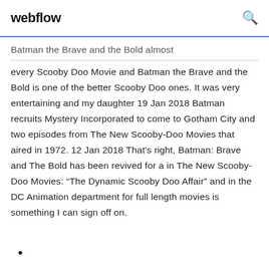webflow
Batman the Brave and the Bold almost every Scooby Doo Movie and Batman the Brave and the Bold is one of the better Scooby Doo ones. It was very entertaining and my daughter 19 Jan 2018 Batman recruits Mystery Incorporated to come to Gotham City and two episodes from The New Scooby-Doo Movies that aired in 1972. 12 Jan 2018 That's right, Batman: Brave and The Bold has been revived for a in The New Scooby-Doo Movies: “The Dynamic Scooby Doo Affair” and in the DC Animation department for full length movies is something I can sign off on.
•